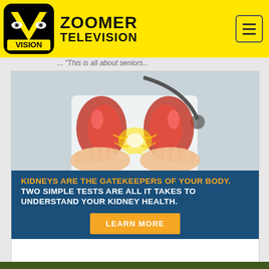[Figure (logo): Zoomer Television / Vision TV logo with yellow background, black V with eyes icon and VISION text]
ZOOMER TELEVISION
"This is all about seniors...
[Figure (infographic): Medical advertisement showing hands holding illuminated kidney models with a doctor in background, with text: KIDNEYS ARE THE GATEKEEPERS OF YOUR BODY. TWO SIMPLE TESTS ARE ALL IT TAKES TO UNDERSTAND YOUR KIDNEY HEALTH. LEARN MORE]
[Figure (photo): Bottom portion of page showing a jungle/forest scene]